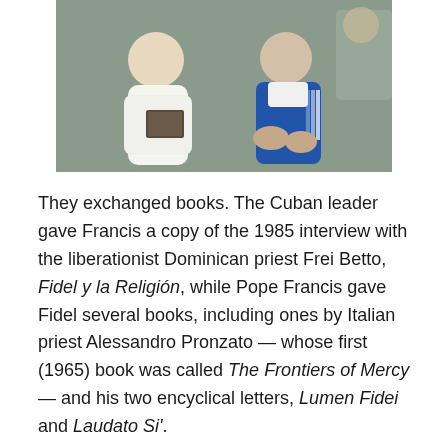[Figure (photo): Photo of two people seated together. One person on the left is dressed in white (likely Pope Francis), and the other person on the right is wearing a blue Adidas tracksuit (likely Fidel Castro). They appear to be exchanging or looking at a book.]
They exchanged books. The Cuban leader gave Francis a copy of the 1985 interview with the liberationist Dominican priest Frei Betto, Fidel y la Religión, while Pope Francis gave Fidel several books, including ones by Italian priest Alessandro Pronzato — whose first (1965) book was called The Frontiers of Mercy — and his two encyclical letters, Lumen Fidei and Laudato Si'.
The Pope also gave him a book and a CD of homilies by Fr Amando Llorente SJ, a Spanish Jesuit who taught Fidel Castro as a child in the 1940s, and who remained in contact after Castro left school. Fr Llorente was forced to